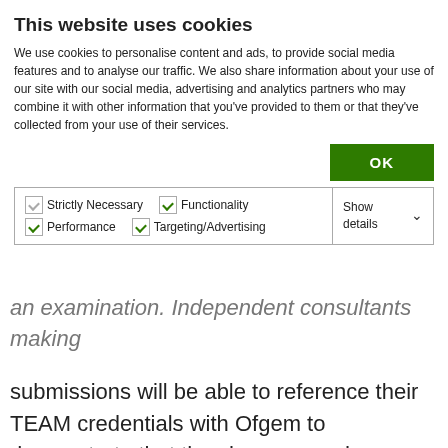This website uses cookies
We use cookies to personalise content and ads, to provide social media features and to analyse our traffic. We also share information about your use of our site with our social media, advertising and analytics partners who may combine it with other information that you've provided to them or that they've collected from your use of their services.
OK
Strictly Necessary  Functionality  Performance  Targeting/Advertising  Show details
an examination. Independent consultants making submissions will be able to reference their TEAM credentials with Ofgem to demonstrate that they have a good understanding of both the requirements and practice of RHI and metering requirements.
For more information about the course please visit our events listing.